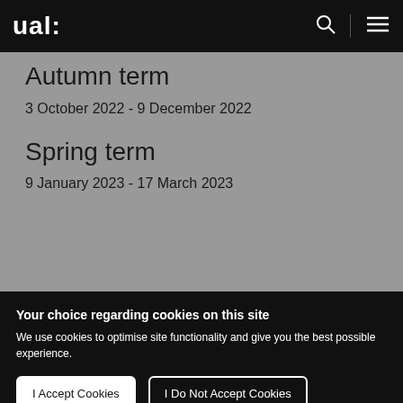ual:
Autumn term
3 October 2022 - 9 December 2022
Spring term
9 January 2023 - 17 March 2023
Your choice regarding cookies on this site
We use cookies to optimise site functionality and give you the best possible experience.
I Accept Cookies
I Do Not Accept Cookies
Settings